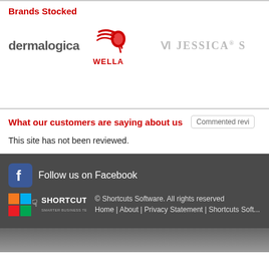Brands Stocked
[Figure (logo): Logos of brands: dermalogica, Wella, Jessica S]
What our customers are saying about us
This site has not been reviewed.
[Figure (logo): Facebook follow us icon]
Follow us on Facebook
[Figure (logo): Shortcuts Software logo - Smarter Business Technology]
© Shortcuts Software. All rights reserved Home | About | Privacy Statement | Shortcuts Soft...